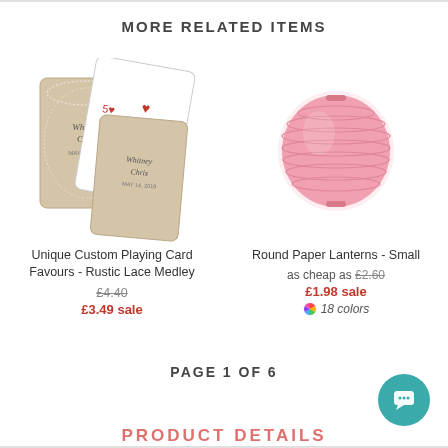MORE RELATED ITEMS
[Figure (photo): Unique Custom Playing Card Favours - Rustic Lace Medley product image showing playing cards with rustic lace design]
Unique Custom Playing Card Favours - Rustic Lace Medley
£4.40 £3.49 sale
[Figure (photo): Round Paper Lanterns - Small product image showing a pink round paper lantern]
Round Paper Lanterns - Small
as cheap as £2.60 £1.98 sale 18 colors
PAGE 1 OF 6
PRODUCT DETAILS